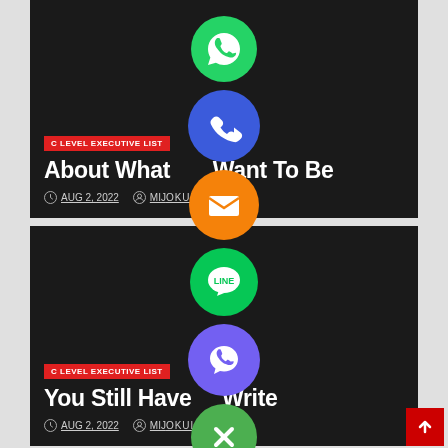[Figure (screenshot): Website screenshot showing two article cards on dark background with social media share icons (WhatsApp, phone, email, LINE, Viber, close) overlaid in center column]
C LEVEL EXECUTIVE LIST
About What Want To Be
AUG 2, 2022  MIJOKUL
C LEVEL EXECUTIVE LIST
You Still Have Write
AUG 2, 2022  MIJOKUL